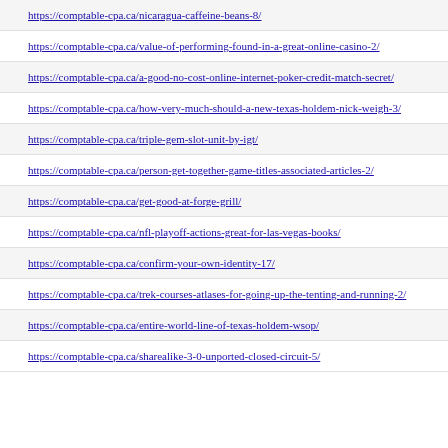https://comptable-cpa.ca/nicaragua-caffeine-beans-8/
https://comptable-cpa.ca/value-of-performing-found-in-a-great-online-casino-2/
https://comptable-cpa.ca/a-good-no-cost-online-internet-poker-credit-match-secret/
https://comptable-cpa.ca/how-very-much-should-a-new-texas-holdem-nick-weigh-3/
https://comptable-cpa.ca/triple-gem-slot-unit-by-igt/
https://comptable-cpa.ca/person-get-together-game-titles-associated-articles-2/
https://comptable-cpa.ca/get-good-at-forge-grill/
https://comptable-cpa.ca/nfl-playoff-actions-great-for-las-vegas-books/
https://comptable-cpa.ca/confirm-your-own-identity-17/
https://comptable-cpa.ca/trek-courses-atlases-for-going-up-the-tenting-and-running-2/
https://comptable-cpa.ca/entire-world-line-of-texas-holdem-wsop/
https://comptable-cpa.ca/sharealike-3-0-unported-closed-circuit-5/